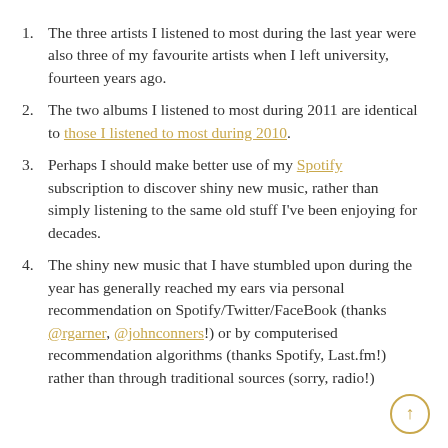The three artists I listened to most during the last year were also three of my favourite artists when I left university, fourteen years ago.
The two albums I listened to most during 2011 are identical to those I listened to most during 2010.
Perhaps I should make better use of my Spotify subscription to discover shiny new music, rather than simply listening to the same old stuff I've been enjoying for decades.
The shiny new music that I have stumbled upon during the year has generally reached my ears via personal recommendation on Spotify/Twitter/FaceBook (thanks @rgarner, @johnconners!) or by computerised recommendation algorithms (thanks Spotify, Last.fm!) rather than through traditional sources (sorry, radio!)